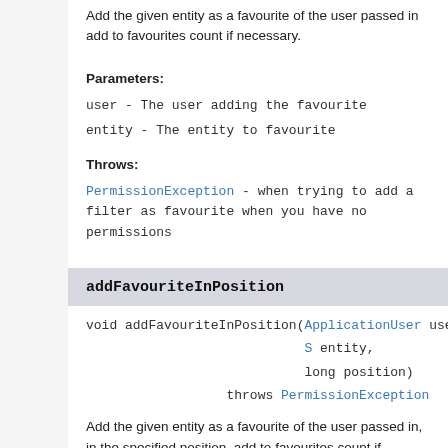Add the given entity as a favourite of the user passed in add to favourites count if necessary.
Parameters:
user - The user adding the favourite
entity - The entity to favourite
Throws:
PermissionException - when trying to add a filter as favourite when you have no permissions
addFavouriteInPosition
void addFavouriteInPosition(ApplicationUser user, S entity, long position) throws PermissionException
Add the given entity as a favourite of the user passed in, in the specified position, add to favourites count if necessary. The entity currently in the specified position and all those after will be...